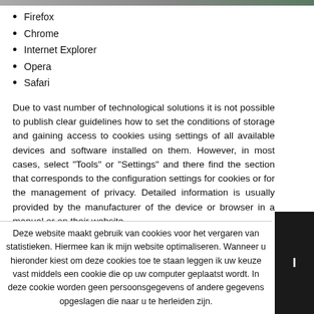Firefox
Chrome
Internet Explorer
Opera
Safari
Due to vast number of technological solutions it is not possible to publish clear guidelines how to set the conditions of storage and gaining access to cookies using settings of all available devices and software installed on them. However, in most cases, select "Tools" or "Settings" and there find the section that corresponds to the configuration settings for cookies or for the management of privacy. Detailed information is usually provided by the manufacturer of the device or browser in a manual or on their website.
Deze website maakt gebruik van cookies voor het vergaren van statistieken. Hiermee kan ik mijn website optimaliseren. Wanneer u hieronder kiest om deze cookies toe te staan leggen ik uw keuze vast middels een cookie die op uw computer geplaatst wordt. In deze cookie worden geen persoonsgegevens of andere gegevens opgeslagen die naar u te herleiden zijn.